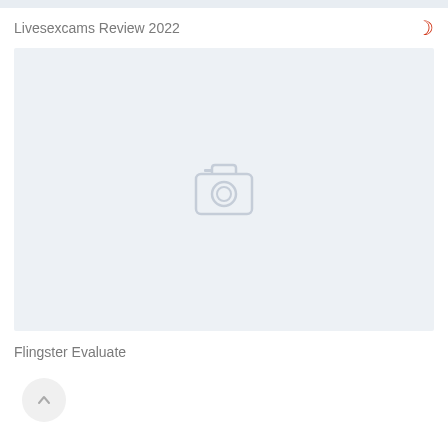Livesexcams Review 2022
[Figure (photo): Image placeholder with camera icon on light blue-gray background]
Flingster Evaluate